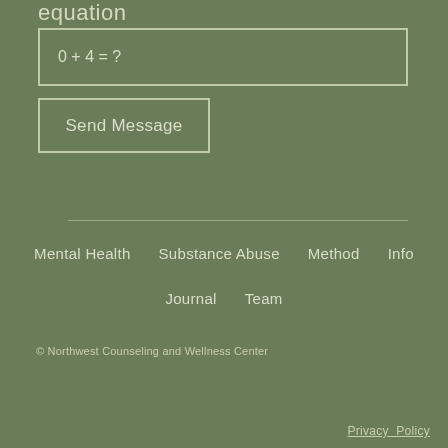equation
0 + 4 = ?
Send Message
Mental Health
Substance Abuse
Method
Info
Journal
Team
© Northwest Counseling and Wellness Center
Privacy  Policy